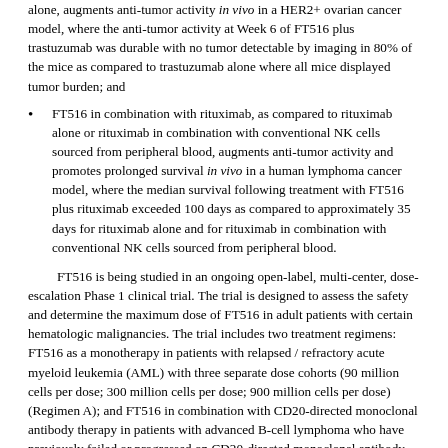alone, augments anti-tumor activity in vivo in a HER2+ ovarian cancer model, where the anti-tumor activity at Week 6 of FT516 plus trastuzumab was durable with no tumor detectable by imaging in 80% of the mice as compared to trastuzumab alone where all mice displayed tumor burden; and
FT516 in combination with rituximab, as compared to rituximab alone or rituximab in combination with conventional NK cells sourced from peripheral blood, augments anti-tumor activity and promotes prolonged survival in vivo in a human lymphoma cancer model, where the median survival following treatment with FT516 plus rituximab exceeded 100 days as compared to approximately 35 days for rituximab alone and for rituximab in combination with conventional NK cells sourced from peripheral blood.
FT516 is being studied in an ongoing open-label, multi-center, dose-escalation Phase 1 clinical trial. The trial is designed to assess the safety and determine the maximum dose of FT516 in adult patients with certain hematologic malignancies. The trial includes two treatment regimens: FT516 as a monotherapy in patients with relapsed / refractory acute myeloid leukemia (AML) with three separate dose cohorts (90 million cells per dose; 300 million cells per dose; 900 million cells per dose) (Regimen A); and FT516 in combination with CD20-directed monoclonal antibody therapy in patients with advanced B-cell lymphoma who have previously failed or progressed on CD20-directed monoclonal antibody therapy with four separate dose cohorts (30 million cells per dose; 90 million cells per dose; 300 million cells per dose; 900 million cells per dose) (Regimen B). FT516 is administered in three once-weekly doses (Day 1, Day 8, Day 15), with IL-2 to support the product candidate's activity, following outpatient lympho-conditioning. For those patients that are clinically stable at Day 29, a second treatment cycle of three